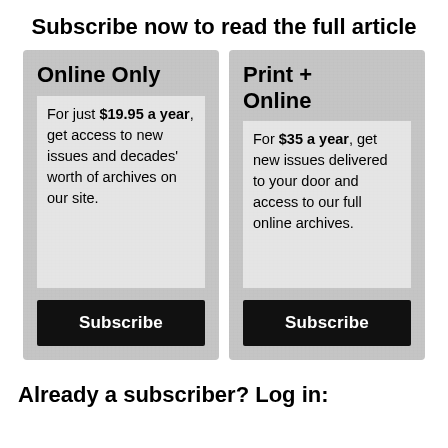Subscribe now to read the full article
Online Only
For just $19.95 a year, get access to new issues and decades' worth of archives on our site.
Subscribe
Print + Online
For $35 a year, get new issues delivered to your door and access to our full online archives.
Subscribe
Already a subscriber? Log in: